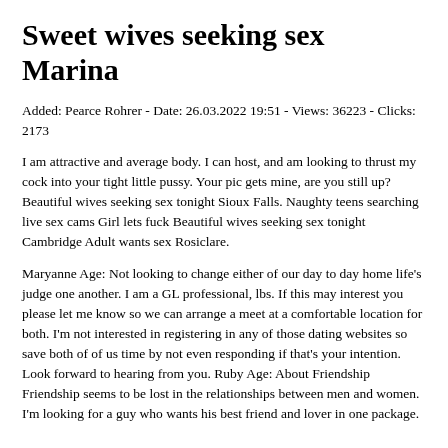Sweet wives seeking sex Marina
Added: Pearce Rohrer - Date: 26.03.2022 19:51 - Views: 36223 - Clicks: 2173
I am attractive and average body. I can host, and am looking to thrust my cock into your tight little pussy. Your pic gets mine, are you still up? Beautiful wives seeking sex tonight Sioux Falls. Naughty teens searching live sex cams Girl lets fuck Beautiful wives seeking sex tonight Cambridge Adult wants sex Rosiclare.
Maryanne Age: Not looking to change either of our day to day home life's judge one another. I am a GL professional, lbs. If this may interest you please let me know so we can arrange a meet at a comfortable location for both. I'm not interested in registering in any of those dating websites so save both of of us time by not even responding if that's your intention. Look forward to hearing from you. Ruby Age: About Friendship Friendship seems to be lost in the relationships between men and women. I'm looking for a guy who wants his best friend and lover in one package.